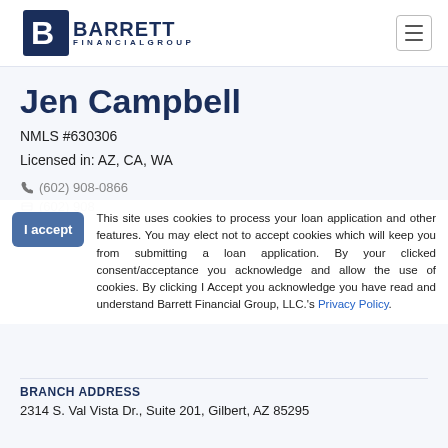[Figure (logo): Barrett Financial Group logo with stylized B icon and company name]
Jen Campbell
NMLS #630306
Licensed in: AZ, CA, WA
(602) 908-0866
(602) 908-...
This site uses cookies to process your loan application and other features. You may elect not to accept cookies which will keep you from submitting a loan application. By your clicked consent/acceptance you acknowledge and allow the use of cookies. By clicking I Accept you acknowledge you have read and understand Barrett Financial Group, LLC.'s Privacy Policy.
BRANCH ADDRESS
2314 S. Val Vista Dr., Suite 201, Gilbert, AZ 85295